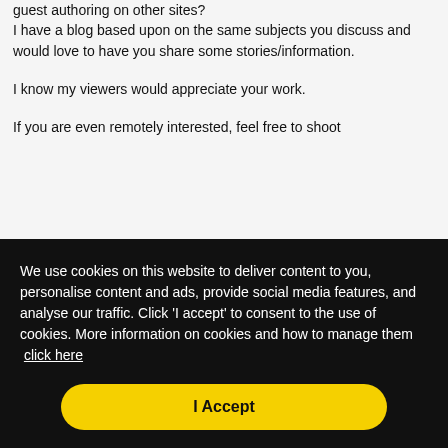guest authoring on other sites? I have a blog based upon on the same subjects you discuss and would love to have you share some stories/information.

I know my viewers would appreciate your work.

If you are even remotely interested, feel free to shoot
We use cookies on this website to deliver content to you, personalise content and ads, provide social media features, and analyse our traffic. Click 'I accept' to consent to the use of cookies. More information on cookies and how to manage them  click here